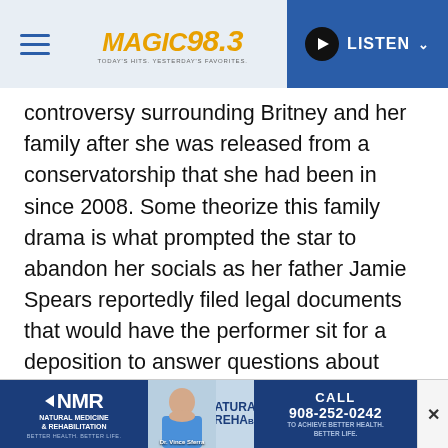Magic 98.3 — LISTEN
controversy surrounding Britney and her family after she was released from a conservatorship that she had been in since 2008. Some theorize this family drama is what prompted the star to abandon her socials as her father Jamie Spears reportedly filed legal documents that would have the performer sit for a deposition to answer questions about allegations, she has leveled against him throughout last year.
Though as of yet nothing has been confirmed.
[Figure (screenshot): Advertisement banner for NMR Natural Medicine & Rehabilitation featuring Dr. Vince Sferra and phone number 908-252-0242]